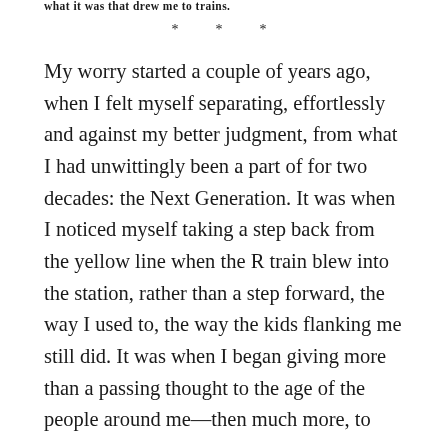what it was that drew me to trains.
* * *
My worry started a couple of years ago, when I felt myself separating, effortlessly and against my better judgment, from what I had unwittingly been a part of for two decades: the Next Generation. It was when I noticed myself taking a step back from the yellow line when the R train blew into the station, rather than a step forward, the way I used to, the way the kids flanking me still did. It was when I began giving more than a passing thought to the age of the people around me—then much more, to